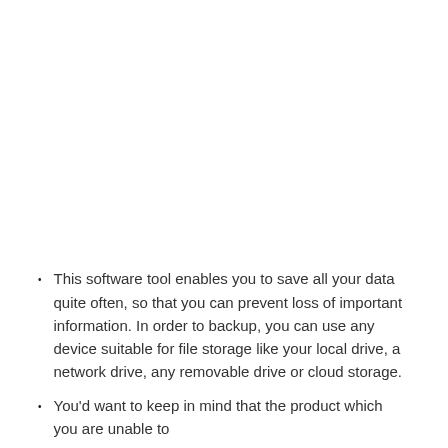This software tool enables you to save all your data quite often, so that you can prevent loss of important information. In order to backup, you can use any device suitable for file storage like your local drive, a network drive, any removable drive or cloud storage.
You'd want to keep in mind that the product which you are unable to...